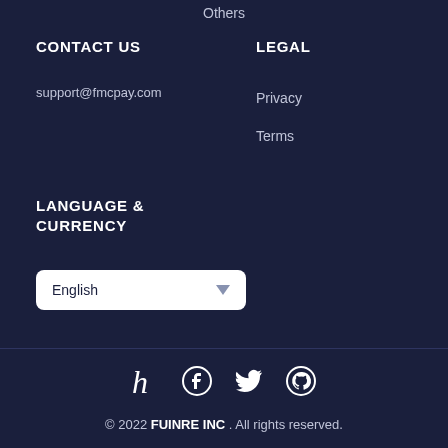Others
CONTACT US
LEGAL
support@fmcpay.com
Privacy
Terms
LANGUAGE & CURRENCY
English
© 2022 FUINRE INC . All rights reserved.